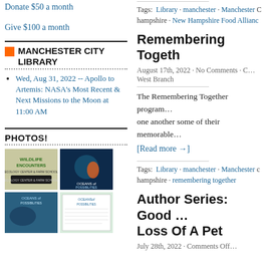Donate $50 a month
Give $100 a month
MANCHESTER CITY LIBRARY
Wed, Aug 31, 2022 -- Apollo to Artemis: NASA's Most Recent & Next Missions to the Moon at 11:00 AM
PHOTOS!
[Figure (photo): Wildlife Encounters Ecology Center & Farm School thumbnail]
[Figure (photo): Oceans of Possibilities thumbnail with diver]
[Figure (photo): Oceans of Possibilities blue background thumbnail]
[Figure (photo): Oceans of Possibilities document/flyer thumbnail]
Tags: Library · manchester · Manchester · hampshire · New Hampshire Food Alliance
Remembering Together
August 17th, 2022 · No Comments · C… West Branch
The Remembering Together program... one another some of their memorable...
[Read more →]
Tags: Library · manchester · Manchester · hampshire · remembering together
Author Series: Good … Loss Of A Pet
July 28th, 2022 · Comments Off…